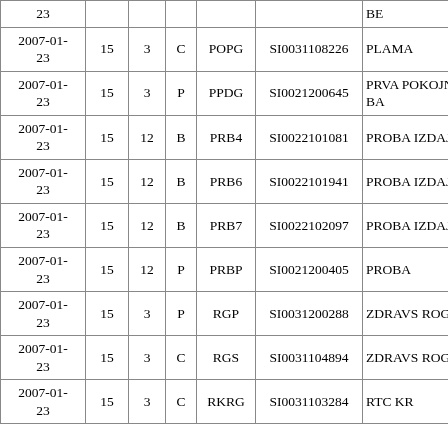| Date |  |  |  | Ticker | ISIN | Name |
| --- | --- | --- | --- | --- | --- | --- |
| 23 |  |  |  |  |  | BE |
| 2007-01-
23 | 15 | 3 | C | POPG | SI0031108226 | PLAMA |
| 2007-01-
23 | 15 | 3 | P | PPDG | SI0021200645 | PRVA POKOJN DRU?BA |
| 2007-01-
23 | 15 | 12 | B | PRB4 | SI0022101081 | PROBA IZDAJA |
| 2007-01-
23 | 15 | 12 | B | PRB6 | SI0022101941 | PROBA IZDAJA |
| 2007-01-
23 | 15 | 12 | B | PRB7 | SI0022102097 | PROBA IZDAJA |
| 2007-01-
23 | 15 | 12 | P | PRBP | SI0021200405 | PROBA |
| 2007-01-
23 | 15 | 3 | P | RGP | SI0031200288 | ZDRAVS ROGA? |
| 2007-01-
23 | 15 | 3 | C | RGS | SI0031104894 | ZDRAVS ROGA? |
| 2007-01-
23 | 15 | 3 | C | RKRG | SI0031103284 | RTC KR |